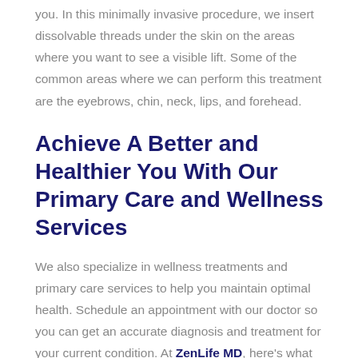you. In this minimally invasive procedure, we insert dissolvable threads under the skin on the areas where you want to see a visible lift. Some of the common areas where we can perform this treatment are the eyebrows, chin, neck, lips, and forehead.
Achieve A Better and Healthier You With Our Primary Care and Wellness Services
We also specialize in wellness treatments and primary care services to help you maintain optimal health. Schedule an appointment with our doctor so you can get an accurate diagnosis and treatment for your current condition. At ZenLife MD, here's what you can expect with our primary care and wellness services.